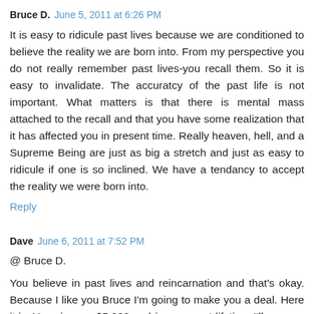Bruce D.  June 5, 2011 at 6:26 PM
It is easy to ridicule past lives because we are conditioned to believe the reality we are born into. From my perspective you do not really remember past lives-you recall them. So it is easy to invalidate. The accuratcy of the past life is not important. What matters is that there is mental mass attached to the recall and that you have some realization that it has affected you in present time. Really heaven, hell, and a Supreme Being are just as big a stretch and just as easy to ridicule if one is so inclined. We have a tendancy to accept the reality we were born into.
Reply
Dave  June 6, 2011 at 7:52 PM
@ Bruce D.
You believe in past lives and reincarnation and that's okay. Because I like you Bruce I'm going to make you a deal. Here it is. You give me $5,000 and in your next lifetime I'll pay you back $10,000. Whaddya think? You double your